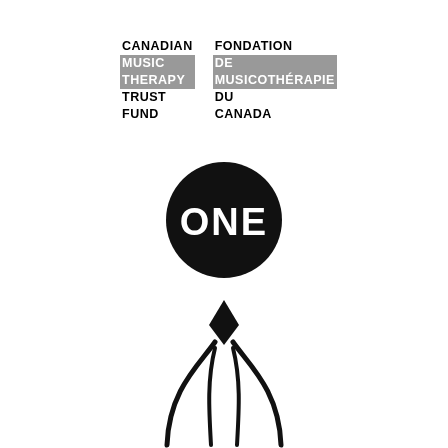[Figure (logo): Canadian Music Therapy Trust Fund / Fondation de Musicothérapie du Canada bilingual logo with grey highlighted text on certain words]
[Figure (logo): Black circle with white bold text reading ONE]
[Figure (logo): Abstract human figure with arms raised and a diamond shape at the chest, formed by two curved lines meeting at top and bottom]